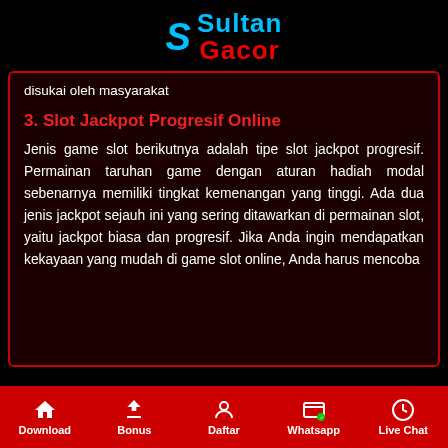[Figure (logo): Sultan Gacor logo with cyan S letter and two-tone text: Sultan in cyan, Gacor in red]
disukai oleh masyarakat
3. Slot Jackpot Progresif Online
Jenis game slot berikutnya adalah tipe slot jackpot progresif. Permainan taruhan game dengan aturan hadiah modal sebenarnya memiliki tingkat kemenangan yang tinggi. Ada dua jenis jackpot sejauh ini yang sering ditawarkan di permainan slot, yaitu jackpot biasa dan progresif. Jika Anda ingin mendapatkan kekayaan yang mudah di game slot online, Anda harus mencoba
Download   Bonus   Daftar   Whatsapp   Live Chat